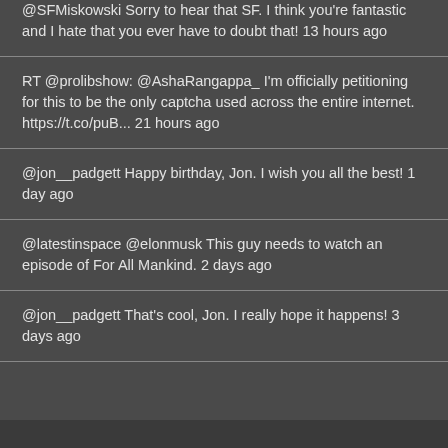@SFMiskowski Sorry to hear that SF. I think you're fantastic and I hate that you ever have to doubt that! 13 hours ago
RT @prolibshow: @AshaRangappa_ I'm officially petitioning for this to be the only captcha used across the entire internet. https://t.co/puB... 21 hours ago
@jon__padgett Happy birthday, Jon. I wish you all the best! 1 day ago
@latestinspace @elonmusk This guy needs to watch an episode of For All Mankind. 2 days ago
@jon__padgett That's cool, Jon. I really hope it happens! 3 days ago